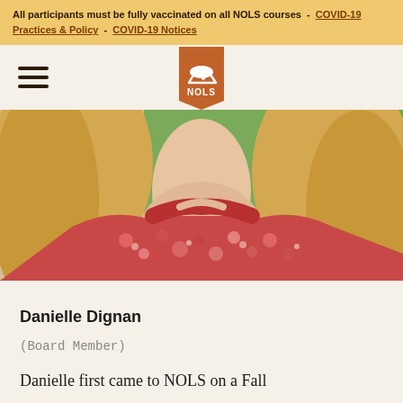All participants must be fully vaccinated on all NOLS courses - COVID-19 Practices & Policy - COVID-19 Notices
[Figure (logo): NOLS logo — brown pennant with mountain and sun icon, 'NOLS' text below]
[Figure (photo): Close-up photo of a woman with blonde hair wearing a red floral top, outdoors with green foliage in background]
Danielle Dignan
(Board Member)
Danielle first came to NOLS on a Fall